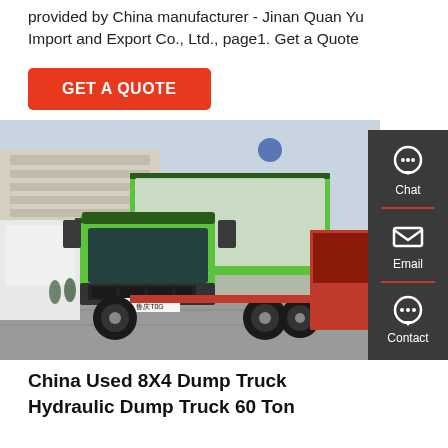provided by China manufacturer - Jinan Quan Yu Import and Export Co., Ltd., page1. Get a Quote
GET A QUOTE
[Figure (photo): Green SINOTRUK HOWO 8x4 dump truck parked in a commercial area, with white dump body cover raised. Red trucks visible in background, people standing nearby. Sidebar showing Chat, Email, Contact icons on dark panel.]
China Used 8X4 Dump Truck Hydraulic Dump Truck 60 Ton